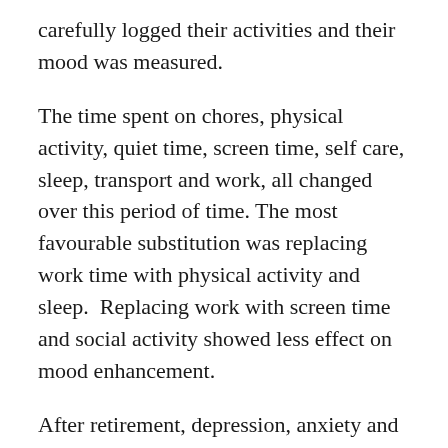carefully logged their activities and their mood was measured.
The time spent on chores, physical activity, quiet time, screen time, self care, sleep, transport and work, all changed over this period of time. The most favourable substitution was replacing work time with physical activity and sleep.  Replacing work with screen time and social activity showed less effect on mood enhancement.
After retirement, depression, anxiety and stress all reduced.
Olds T et al One day you will wake up and